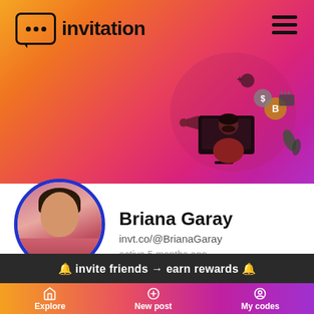[Figure (screenshot): App header banner with gradient background from orange to pink/purple, containing the invitation app logo (chat bubble with dots) and wordmark 'invitation', a hamburger menu icon, and an illustration of a person at a computer with crypto/reward icons]
invitation
[Figure (illustration): Person sitting at computer with megaphone, crypto coins (Bitcoin, dollar), and another person icon above, on gradient pink/magenta background]
[Figure (photo): Profile photo of a woman with dark hair]
Briana Garay
invt.co/@BrianaGaray
active 5 months ago
🔔 invite friends → earn rewards 🔔
Explore   New post   My codes